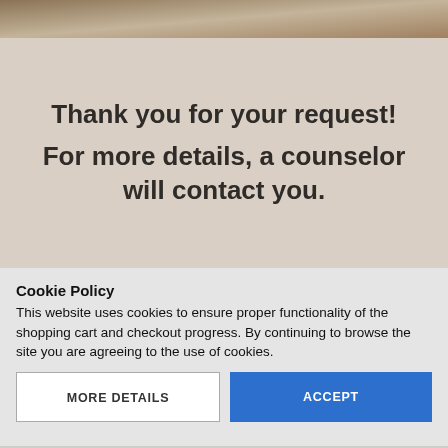[Figure (screenshot): Top banner image with warm brown/tan gradient background]
Thank you for your request! For more details, a counselor will contact you.
Cookie Policy
This website uses cookies to ensure proper functionality of the shopping cart and checkout progress. By continuing to browse the site you are agreeing to the use of cookies.
MORE DETAILS
ACCEPT